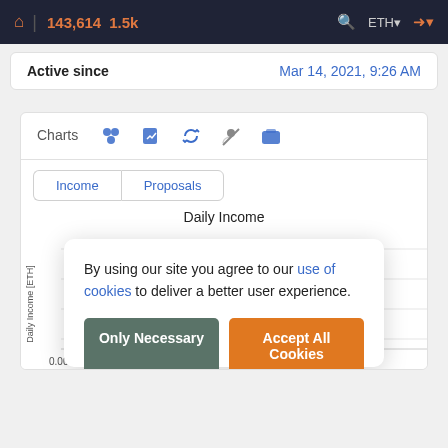143,614  1.5k  ETH
Active since  Mar 14, 2021, 9:26 AM
Charts  [icons: tokens, edit, refresh, user-blocked, wallet]
Income  Proposals
Daily Income
By using our site you agree to our use of cookies to deliver a better user experience.
Only Necessary
Accept All Cookies
0.00100